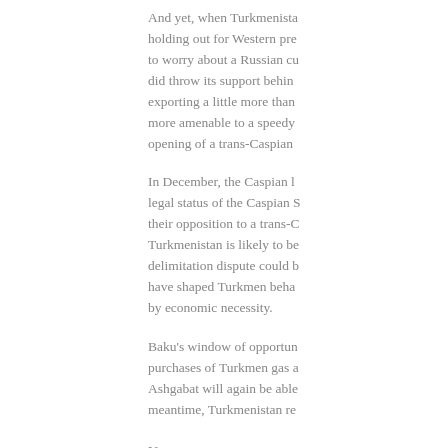And yet, when Turkmenista holding out for Western pre to worry about a Russian cu did throw its support behin exporting a little more than more amenable to a speedy opening of a trans-Caspian
In December, the Caspian legal status of the Caspian their opposition to a trans-C Turkmenistan is likely to be delimitation dispute could b have shaped Turkmen beha by economic necessity.
Baku's window of opportu purchases of Turkmen gas a Ashgabat will again be able meantime, Turkmenistan re
Notes
[1] Bloomberg, 16 April 20